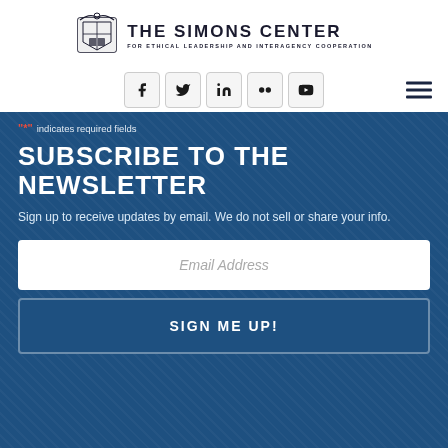[Figure (logo): The Simons Center for Ethical Leadership and Interagency Cooperation logo with crest and text]
[Figure (infographic): Social media icons: Facebook, Twitter, LinkedIn, Flickr, YouTube and hamburger menu icon]
"*" indicates required fields
SUBSCRIBE TO THE NEWSLETTER
Sign up to receive updates by email. We do not sell or share your info.
Email Address
SIGN ME UP!